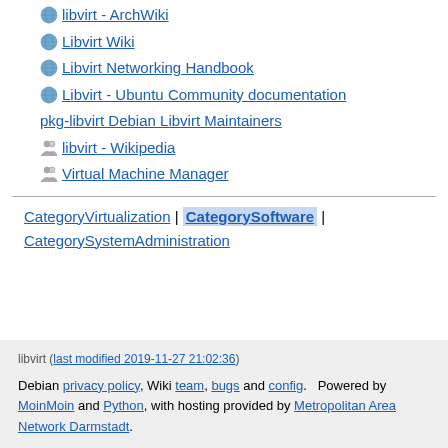libvirt - ArchWiki
Libvirt Wiki
Libvirt Networking Handbook
Libvirt - Ubuntu Community documentation
pkg-libvirt Debian Libvirt Maintainers
libvirt - Wikipedia
Virtual Machine Manager
CategoryVirtualization | CategorySoftware | CategorySystemAdministration
libvirt (last modified 2019-11-27 21:02:36)
Debian privacy policy, Wiki team, bugs and config. Powered by MoinMoin and Python, with hosting provided by Metropolitan Area Network Darmstadt.